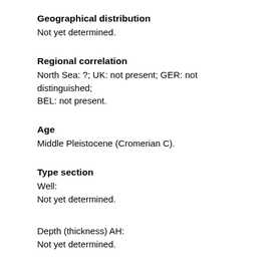Geographical distribution
Not yet determined.
Regional correlation
North Sea: ?; UK: not present; GER: not distinguished; BEL: not present.
Age
Middle Pleistocene (Cromerian C).
Type section
Well:
Not yet determined.
Depth (thickness) AH:
Not yet determined.
Origin of name